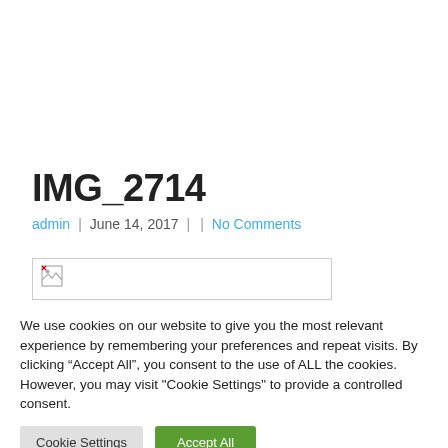IMG_2714
admin | June 14, 2017 | | No Comments
[Figure (other): Broken image placeholder inside a bordered box]
We use cookies on our website to give you the most relevant experience by remembering your preferences and repeat visits. By clicking “Accept All”, you consent to the use of ALL the cookies. However, you may visit "Cookie Settings" to provide a controlled consent.